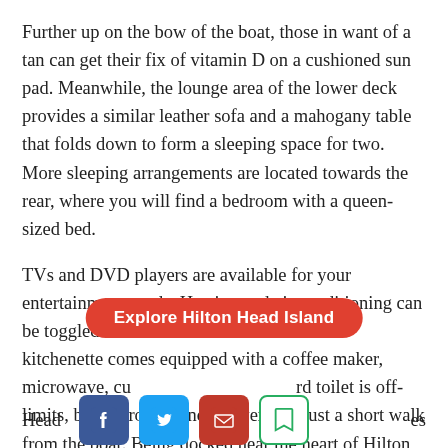Further up on the bow of the boat, those in want of a tan can get their fix of vitamin D on a cushioned sun pad. Meanwhile, the lounge area of the lower deck provides a similar leather sofa and a mahogany table that folds down to form a sleeping space for two. More sleeping arrangements are located towards the rear, where you will find a bedroom with a queen-sized bed.
TVs and DVD players are available for your entertainment needs. Heating and air conditioning can be toggled via the on-board thermostat. The kitchenette comes equipped with a coffee maker, microwave, cu... ...rd toilet is off-limits, but restrooms and showers are just a short walk from the boat. Being docked near the heart of Hilton Head ...es
[Figure (other): Red rounded button overlay reading 'Explore Hilton Head Island' over the text, with social media icons (Facebook, Twitter, email, bookmark) at the bottom]